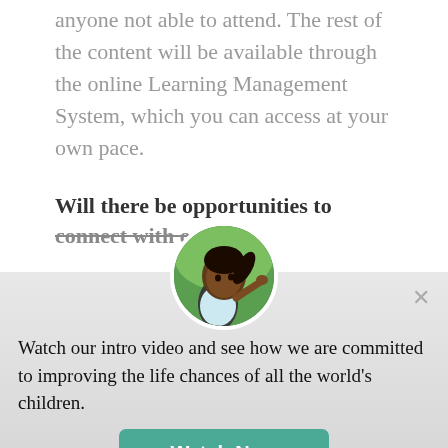anyone not able to attend. The rest of the content will be available through the online Learning Management System, which you can access at your own pace.
Will there be opportunities to connect with others?
[Figure (photo): Circular avatar photo of a young girl with braids looking upward, set against a green outdoor background. Overlaid popup widget.]
Watch our intro video and see how we are committed to improving the life chances of all the world's children.